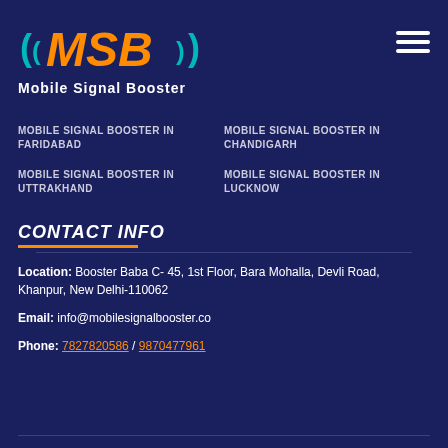[Figure (logo): MSB Mobile Signal Booster logo with orange MSB text and teal wifi arc symbols, with 'Mobile Signal Booster' text below]
MOBILE SIGNAL BOOSTER IN FARIDABAD
MOBILE SIGNAL BOOSTER IN CHANDIGARH
MOBILE SIGNAL BOOSTER IN UTTRAKHAND
MOBILE SIGNAL BOOSTER IN LUCKNOW
CONTACT INFO
Location: Booster Baba C- 45, 1st Floor, Bara Mohalla, Devli Road, Khanpur, New Delhi-110062
Email: info@mobilesignalbooster.co
Phone: 7827820586 / 9870477961